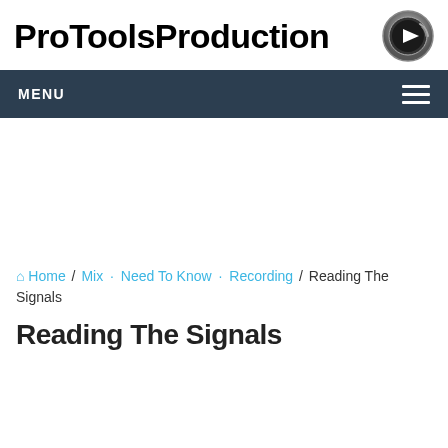ProToolsProduction
MENU
Home / Mix · Need To Know · Recording / Reading The Signals
Reading The Signals